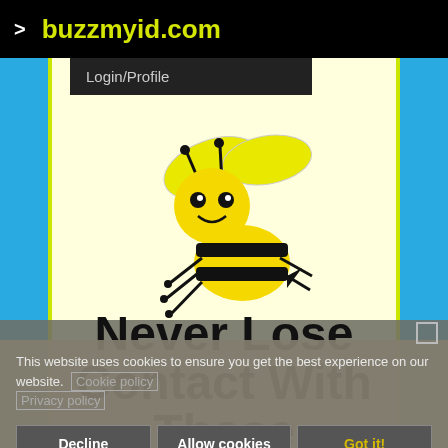> buzzmyid.com
Login/Profile
[Figure (illustration): Cartoon bee mascot — yellow and black striped bee with wings, antennae, and legs, smiling, on a light yellow background]
Never Lose Contact With Those Important To
This website uses cookies to ensure you get the best experience on our website. Cookie policy Privacy policy
Decline  Allow cookies  Got it!